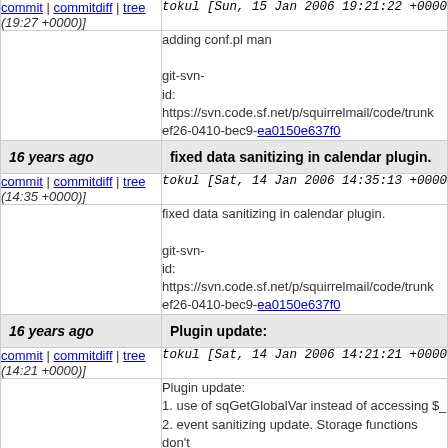commit | commitdiff | tree (19:27 +0000)] tokul [Sun, 15 Jan 2006 19:21:22 +0000 (19:27 +0000)]
adding conf.pl man

git-svn-id: https://svn.code.sf.net/p/squirrelmail/code/trunk ef26-0410-bec9-ea0150e637f0
16 years ago  fixed data sanitizing in calendar plugin.
commit | commitdiff | tree (14:35 +0000)] tokul [Sat, 14 Jan 2006 14:35:13 +0000 (14:35 +0000)]
fixed data sanitizing in calendar plugin.

git-svn-id: https://svn.code.sf.net/p/squirrelmail/code/trunk ef26-0410-bec9-ea0150e637f0
16 years ago  Plugin update:
commit | commitdiff | tree (14:21 +0000)] tokul [Sat, 14 Jan 2006 14:21:21 +0000 (14:21 +0000)]
Plugin update:
1. use of sqGetGlobalVar instead of accessing $_
2. event sanitizing update. Storage functions don't   is sanitized on display
3. fix possible data loss when vertical bar is used